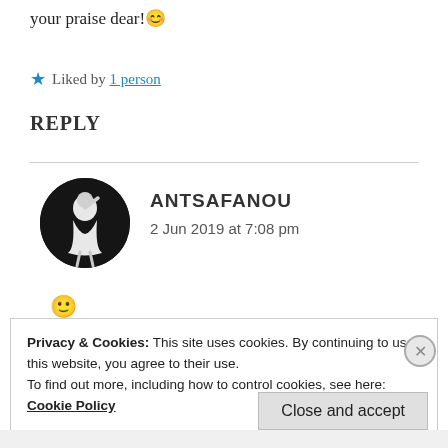your praise dear! 😊
★ Liked by 1 person
REPLY
[Figure (photo): Circular avatar photo of a person in a white dress on a dark background]
ANTSAFANOU
2 Jun 2019 at 7:08 pm
🙂
Privacy & Cookies: This site uses cookies. By continuing to use this website, you agree to their use.
To find out more, including how to control cookies, see here: Cookie Policy
Close and accept